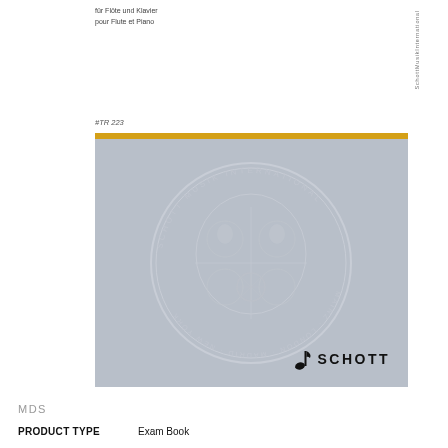für Flöte und Klavier
pour Flute et Piano
#TR 223
[Figure (illustration): Schott music publisher book cover with gray background, circular watermark seal of Schott Musik International, yellow bar at top, and Schott logo in bottom right corner]
MDS
PRODUCT TYPE    Exam Book